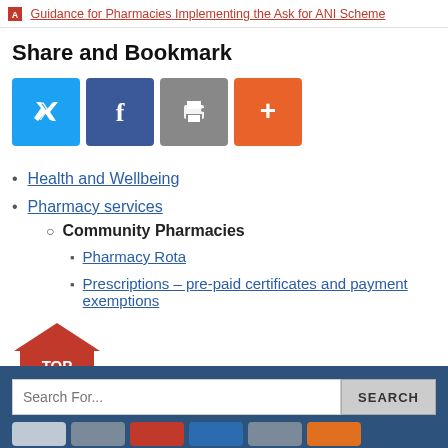Guidance for Pharmacies Implementing the Ask for ANI Scheme
Share and Bookmark
[Figure (infographic): Social sharing buttons: Twitter (blue), Facebook (dark blue), Print (gray), More (orange)]
Health and Wellbeing
Pharmacy services
Community Pharmacies
Pharmacy Rota
Prescriptions – pre-paid certificates and payment exemptions
[Figure (illustration): Red 'TOP' button shaped like a house/arrow pointing up]
Search For... SEARCH